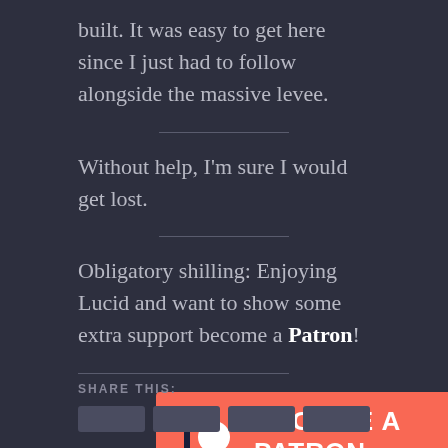built. It was easy to get here since I just had to follow alongside the massive levee.
Without help, I'm sure I would get lost.
Obligatory shilling: Enjoying Lucid and want to show some extra support become a Patron!
[Figure (other): Patreon 'Become a Patron' button with orange/coral background, Patreon logo (vertical bar and circle) and bold white text 'BECOME A PATRON']
Share this: